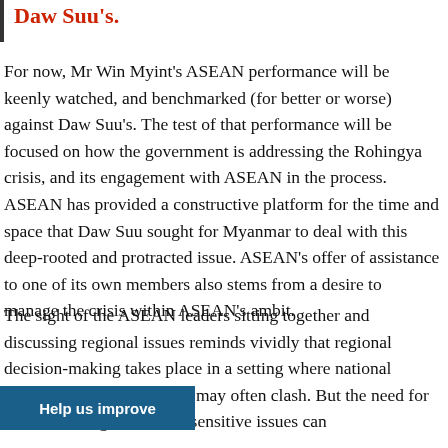Daw Suu's.
For now, Mr Win Myint's ASEAN performance will be keenly watched, and benchmarked (for better or worse) against Daw Suu's. The test of that performance will be focused on how the government is addressing the Rohingya crisis, and its engagement with ASEAN in the process. ASEAN has provided a constructive platform for the time and space that Daw Suu sought for Myanmar to deal with this deep-rooted and protracted issue. ASEAN's offer of assistance to one of its own members also stems from a desire to manage the crisis within ASEAN's ambit.
The sight of the ASEAN leaders sitting together and discussing regional issues reminds vividly that regional decision-making takes place in a setting where national interests and commitments may often clash. But the need for a consensus agreement on sensitive issues can